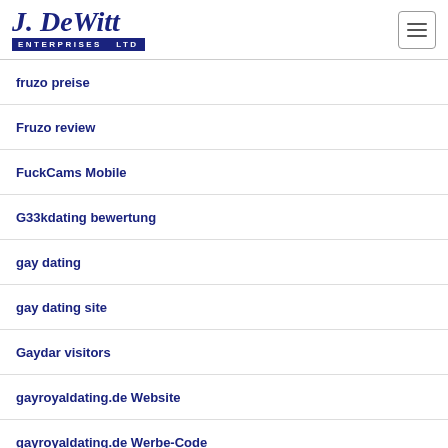[Figure (logo): J. DeWitt Enterprises Ltd logo in blue cursive text with dark blue banner]
fruzo preise
Fruzo review
FuckCams Mobile
G33kdating bewertung
gay dating
gay dating site
Gaydar visitors
gayroyaldating.de Website
gayroyaldating.de Werbe-Code